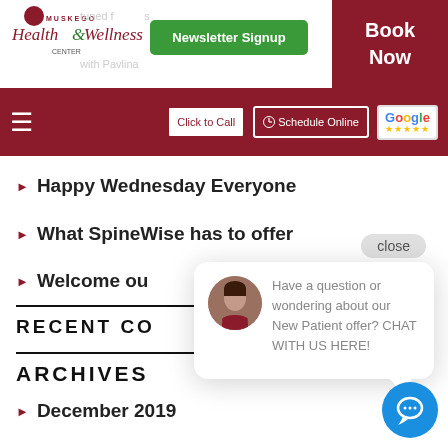[Figure (logo): Muskego Health & Wellness Center logo with sun/rays icon and green/dark-red color scheme]
Newsletter Signup
Book Now
≡  Click to Call   Schedule Online   Google ★★★★★
Happy Wednesday Everyone
What SpineWise has to offer
Welcome our...
RECENT CO...
ARCHIVES
December 2019
Have a question or wondering about our New Patient offer? CHAT WITH US HERE!
close